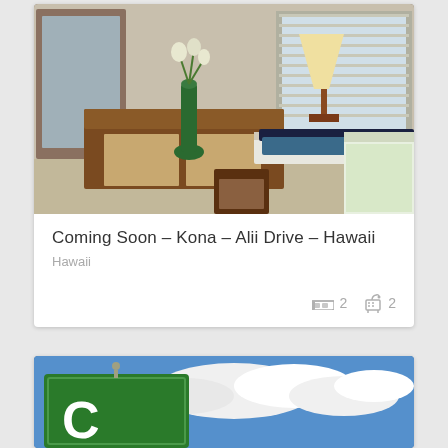[Figure (photo): Interior photo of a bedroom with wooden furniture, a table lamp, green vase with flowers, window with blinds, and a bed with floral bedding]
Coming Soon – Kona – Alii Drive – Hawaii
Hawaii
2  2
[Figure (photo): Partial photo of a green road sign against a blue sky with white clouds]